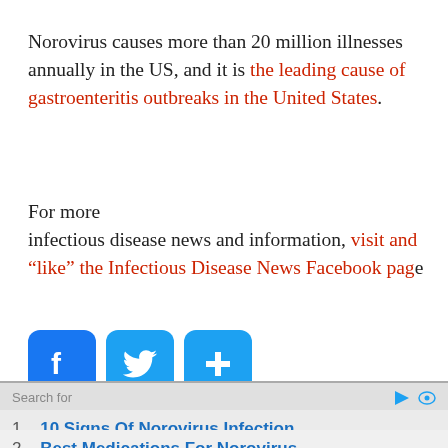Norovirus causes more than 20 million illnesses annually in the US, and it is the leading cause of gastroenteritis outbreaks in the United States.
For more infectious disease news and information, visit and "like" the Infectious Disease News Facebook page
[Figure (infographic): Three social media share buttons: Facebook (blue), Twitter (blue bird), and a generic share/plus button (blue)]
Search for
1. 10 Signs Of Norovirus Infection
2. Best Medications For Norovirus